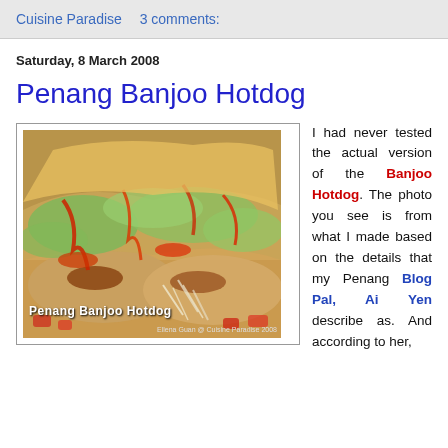Cuisine Paradise    3 comments:
Saturday, 8 March 2008
Penang Banjoo Hotdog
[Figure (photo): Close-up photo of Penang Banjoo Hotdog - bread rolls filled with sausages, topped with shredded lettuce and red chili sauce. Caption text 'Penang Banjoo Hotdog' overlaid on image. Photo credit: Ellena Guan @ Cuisine Paradise 2008]
I had never tested the actual version of the Banjoo Hotdog. The photo you see is from what I made based on the details that my Penang Blog Pal, Ai Yen describe as. And according to her,